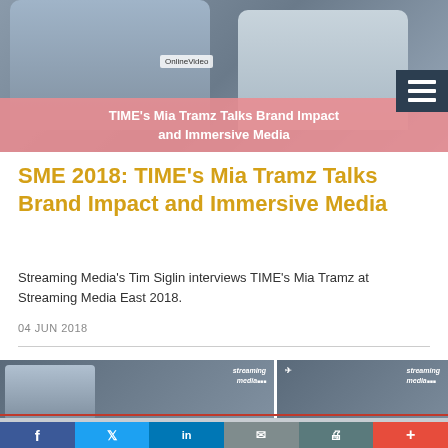[Figure (photo): Video thumbnail showing two people being interviewed at Streaming Media East 2018, with a pink overlay title bar at the bottom reading 'TIME's Mia Tramz Talks Brand Impact and Immersive Media'. A hamburger menu icon appears in the top right corner.]
SME 2018: TIME's Mia Tramz Talks Brand Impact and Immersive Media
Streaming Media's Tim Siglin interviews TIME's Mia Tramz at Streaming Media East 2018.
04 JUN 2018
[Figure (screenshot): Two small video thumbnail images showing streaming media content side by side.]
Social sharing bar with Facebook, Twitter, LinkedIn, Email, Print, and More buttons